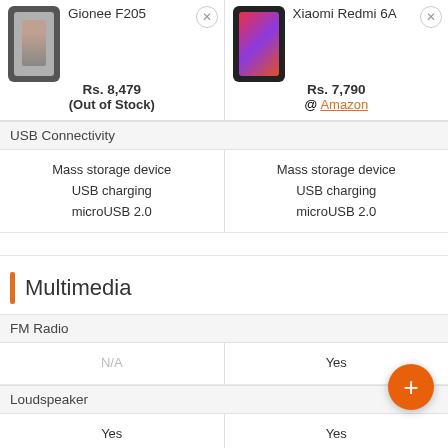| Gionee F205 | Xiaomi Redmi 6A |
| --- | --- |
| Rs. 8,479 (Out of Stock) | Rs. 7,790 @ Amazon |
| USB Connectivity | USB Connectivity |
| Mass storage device
USB charging
microUSB 2.0 | Mass storage device
USB charging
microUSB 2.0 |
Multimedia
|  |  |
| --- | --- |
| FM Radio | FM Radio |
| N/A | Yes |
| Loudspeaker | Loudspeaker |
| Yes | Yes |
| Audio Jack | Audio Jack |
| 3.5 mm | 3.5 mm |